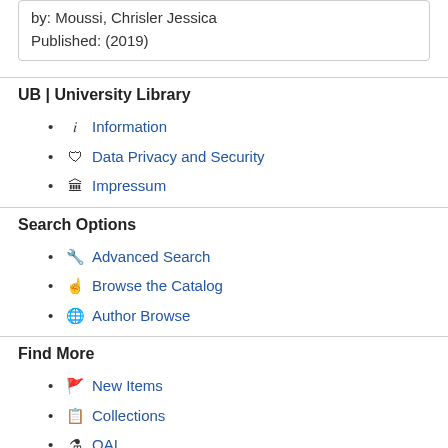by: Moussi, Chrisler Jessica
Published: (2019)
UB | University Library
Information
Data Privacy and Security
Impressum
Search Options
Advanced Search
Browse the Catalog
Author Browse
Find More
New Items
Collections
OAI
Need Help?
Search Tips
Ask a Librarian
Theme